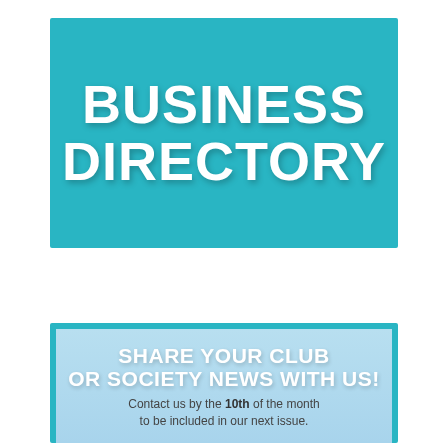BUSINESS DIRECTORY
SHARE YOUR CLUB OR SOCIETY NEWS WITH US!
Contact us by the 10th of the month to be included in our next issue.